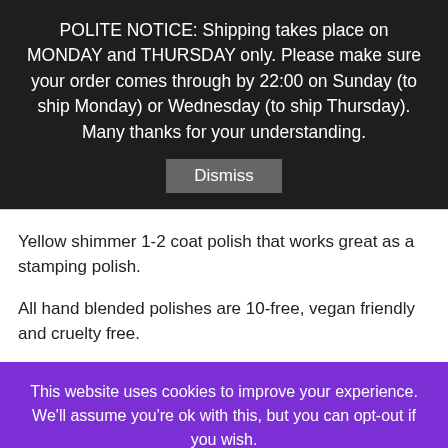POLITE NOTICE: Shipping takes place on MONDAY and THURSDAY only. Please make sure your order comes through by 22:00 on Sunday (to ship Monday) or Wednesday (to ship Thursday). Many thanks for your understanding.
Dismiss
Yellow shimmer 1-2 coat polish that works great as a stamping polish.
All hand blended polishes are 10-free, vegan friendly and cruelty free.
This website uses cookies to improve your experience. We'll assume you're ok with this, but you can opt-out if you wish.
Accept
Reject
Read More